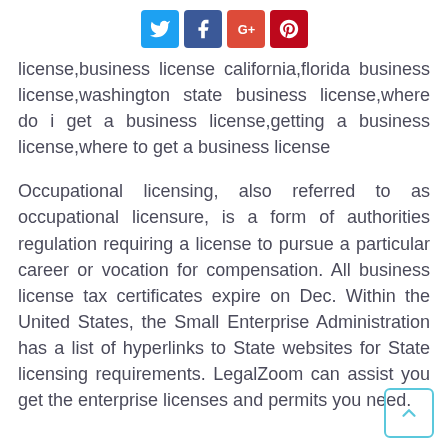[Social share buttons: Twitter, Facebook, Google+, Pinterest]
license,business license california,florida business license,washington state business license,where do i get a business license,getting a business license,where to get a business license
Occupational licensing, also referred to as occupational licensure, is a form of authorities regulation requiring a license to pursue a particular career or vocation for compensation. All business license tax certificates expire on Dec. Within the United States, the Small Enterprise Administration has a list of hyperlinks to State websites for State licensing requirements. LegalZoom can assist you get the enterprise licenses and permits you need.